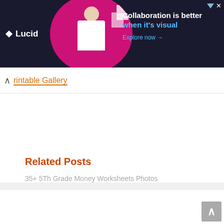[Figure (screenshot): Lucid advertisement banner with dark background showing a woman working on laptop, text reads 'Collaboration is better when it's visual. Explore now →']
rintable Gallery
Related Posts
35+ 5Th Grade Money Worksheets Photos